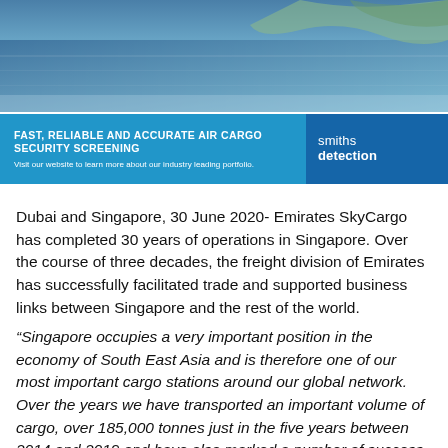[Figure (photo): Aerial photograph of coastline and water, likely Singapore or Dubai area, viewed from above.]
[Figure (infographic): Advertisement banner for Smiths Detection: 'FAST, RELIABLE AND ACCURATE AIR CARGO SECURITY SCREENING - Visit our website to learn more about our industry leading portfolio. smiths detection']
Dubai and Singapore, 30 June 2020- Emirates SkyCargo has completed 30 years of operations in Singapore. Over the course of three decades, the freight division of Emirates has successfully facilitated trade and supported business links between Singapore and the rest of the world.
“Singapore occupies a very important position in the economy of South East Asia and is therefore one of our most important cargo stations around our global network. Over the years we have transported an important volume of cargo, over 185,000 tonnes just in the five years between 2014 and 2019 and have also marked a number of success stories from the station across all areas of operations – whether it is in loading of unique and outsized cargo or in